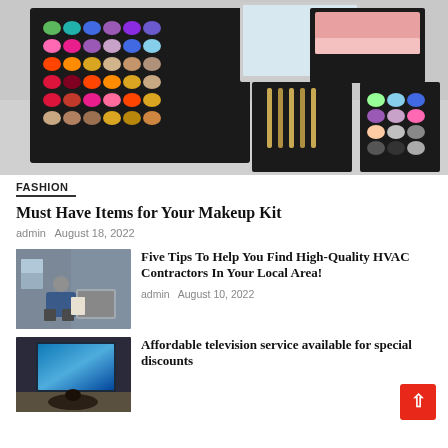[Figure (photo): A large open makeup palette with multiple eyeshadow colors, lipsticks, brushes, and blush panels arranged in black trays]
FASHION
Must Have Items for Your Makeup Kit
admin  August 18, 2022
[Figure (photo): A man in a blue jacket crouching down and writing on a clipboard next to an HVAC unit outside a building]
Five Tips To Help You Find High-Quality HVAC Contractors In Your Local Area!
admin  August 10, 2022
[Figure (photo): Person sitting in front of a large TV mounted on a stone wall, displaying a bright blue ocean/space scene]
Affordable television service available for special discounts